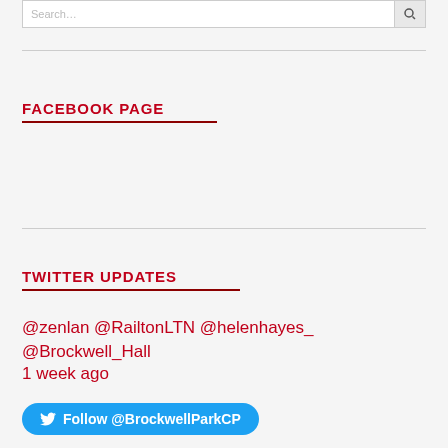FACEBOOK PAGE
TWITTER UPDATES
@zenlan @RailtonLTN @helenhayes_ @Brockwell_Hall 1 week ago
Follow @BrockwellParkCP